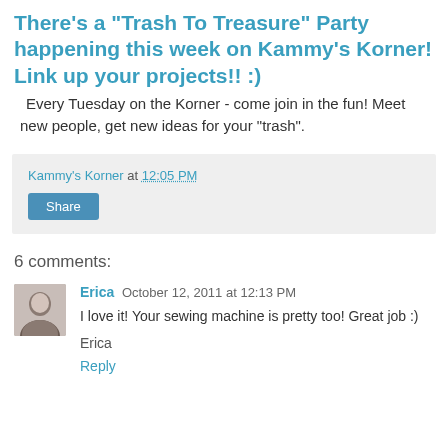There's a "Trash To Treasure" Party happening this week on Kammy's Korner!  Link up your projects!! :)
Every Tuesday on the Korner - come join in the fun! Meet new people, get new ideas for your "trash".
Kammy's Korner at 12:05 PM
Share
6 comments:
Erica October 12, 2011 at 12:13 PM
I love it! Your sewing machine is pretty too! Great job :)
Erica
Reply